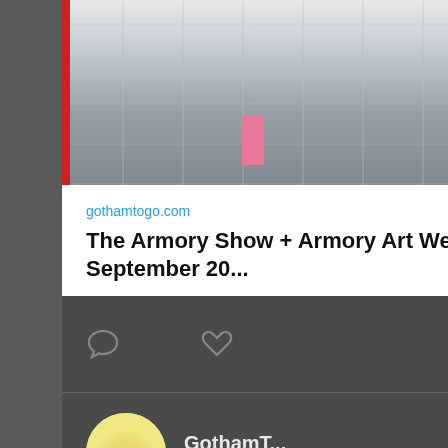[Figure (photo): Interior photo of a convention center (likely the Armory Show venue) with glass ceiling, escalators, and a woman in pink walking]
gothamtogo.com
The Armory Show + Armory Art Week ~ September 20...
[Figure (other): Action bar with comment icon and heart icon on dark background]
[Figure (photo): Circular avatar showing colorful flowers in a vase]
GothamT...  @afi... · 13h
Whimsical Animal Creatures Have Arrived on the Park Avenue Median in Murray Hill gothamtogo.com/whimsical-anim… via @AFineLyne
[Figure (photo): Partial image showing yellow sculptural animal creatures on Park Avenue median with cherry blossom trees]